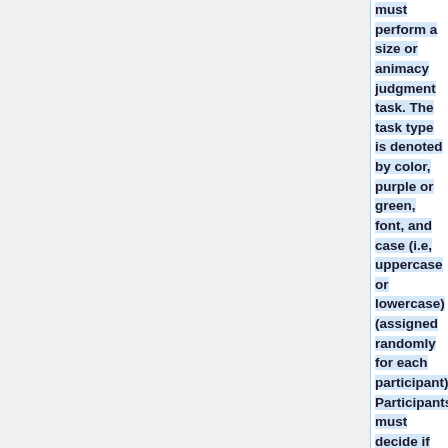must perform a size or animacy judgment task. The task type is denoted by color, purple or green, font, and case (i.e, uppercase or lowercase) (assigned randomly for each participant). Participants must decide if the word presented is an object that is SMALL/BIG (can/cannot fit in a shoebox) or LIVING/NONLIVI